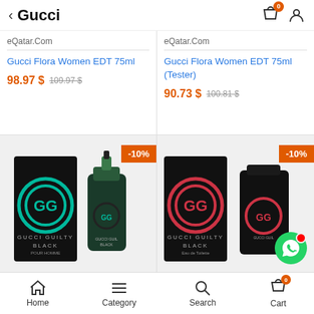Gucci
eQatar.Com
Gucci Flora Women EDT 75ml
98.97 $ 109.97 $
eQatar.Com
Gucci Flora Women EDT 75ml (Tester)
90.73 $ 100.81 $
[Figure (photo): Gucci Guilty Black pour Homme perfume bottle and box with -10% discount badge]
[Figure (photo): Gucci Guilty Black women's perfume bottle and box with -10% discount badge]
Home  Category  Search  Cart